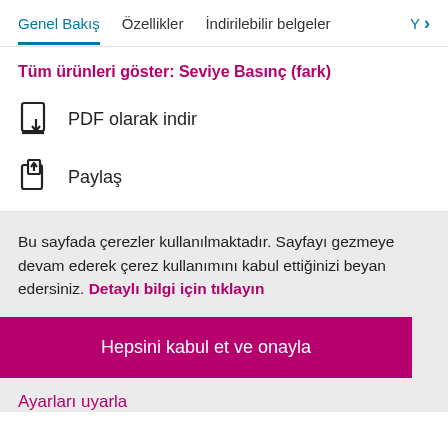Genel Bakış   Özellikler   İndirilebilir belgeler   Y >
Tüm ürünleri göster: Seviye Basınç (fark)
PDF olarak indir
Paylaş
Bu sayfada çerezler kullanılmaktadır. Sayfayı gezmeye devam ederek çerez kullanımını kabul ettiğinizi beyan edersiniz. Detaylı bilgi için tıklayın
Hepsini kabul et ve onayla
Ayarları uyarla